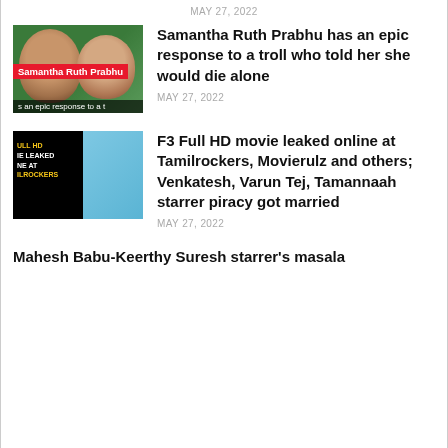MAY 27, 2022
[Figure (photo): Thumbnail image of Samantha Ruth Prabhu article with two people and red label overlay]
Samantha Ruth Prabhu has an epic response to a troll who told her she would die alone
MAY 27, 2022
[Figure (photo): Thumbnail image for F3 Full HD movie leaked article showing dark background with yellow text and actor]
F3 Full HD movie leaked online at Tamilrockers, Movierulz and others; Venkatesh, Varun Tej, Tamannaah starrer piracy got married
MAY 27, 2022
Mahesh Babu-Keerthy Suresh starrer's masala